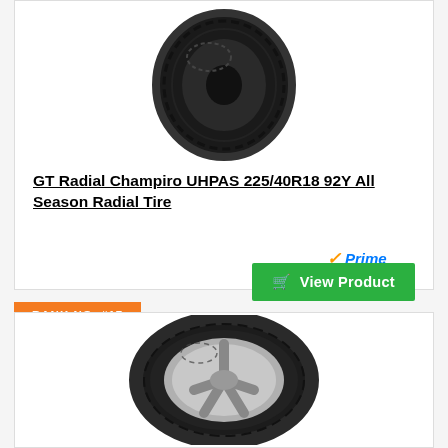[Figure (photo): GT Radial Champiro UHPAS tire product photo - black high-performance tire viewed from slight angle]
GT Radial Champiro UHPAS 225/40R18 92Y All Season Radial Tire
[Figure (logo): Amazon Prime logo with orange checkmark and blue italic Prime text]
View Product
RANK NO. #17
[Figure (photo): All-season touring tire with silver 5-spoke wheel/rim, viewed from slight angle]